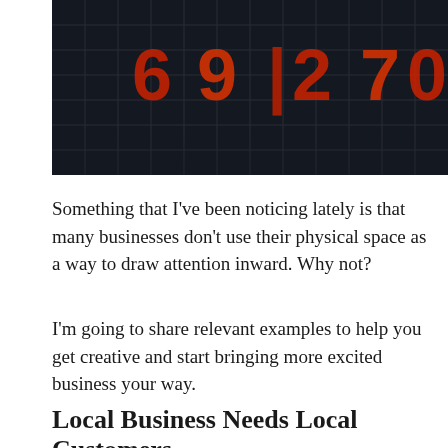[Figure (photo): Dark nighttime photo of an illuminated digital scoreboard or sign display through a grid/mesh, showing orange/red glowing numbers partially visible]
Something that I've been noticing lately is that many businesses don't use their physical space as a way to draw attention inward. Why not?
I'm going to share relevant examples to help you get creative and start bringing more excited business your way.
Local Business Needs Local Customers